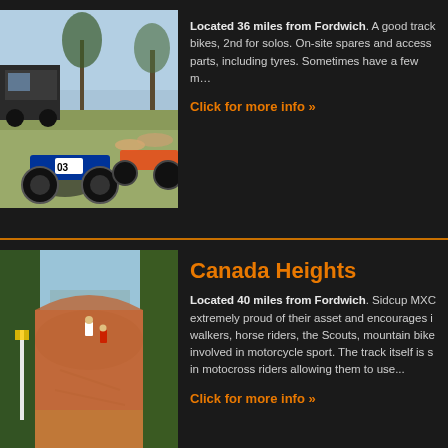[Figure (photo): Motocross bikes and riders resting on a grass field, with a blue dirt bike numbered 03 in foreground]
Located 36 miles from Fordwich. A good track for bikes, 2nd for solos. On-site spares and accessories parts, including tyres. Sometimes have a few m…
Click for more info »
Canada Heights
[Figure (photo): Motocross dirt track with riders racing on a red clay hill surrounded by trees]
Located 40 miles from Fordwich. Sidcup MXC extremely proud of their asset and encourages it walkers, horse riders, the Scouts, mountain bike involved in motorcycle sport. The track itself is s in motocross riders allowing them to use...
Click for more info »